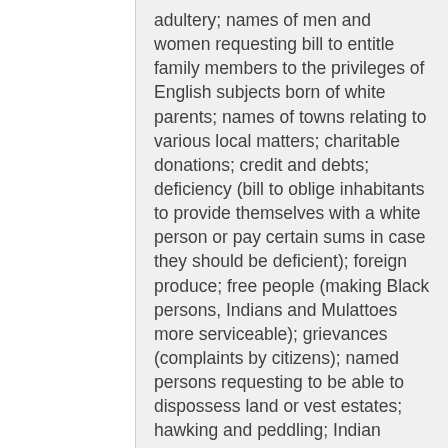adultery; names of men and women requesting bill to entitle family members to the privileges of English subjects born of white parents; names of towns relating to various local matters; charitable donations; credit and debts; deficiency (bill to oblige inhabitants to provide themselves with a white person or pay certain sums in case they should be deficient); foreign produce; free people (making Black persons, Indians and Mulattoes more serviceable); grievances (complaints by citizens); named persons requesting to be able to dispossess land or vest estates; hawking and peddling; Indian settlements and trade (Mosquito); Island settlement and encouragement; named male petitioning for marriage dissolution; continuations (unclear from page)